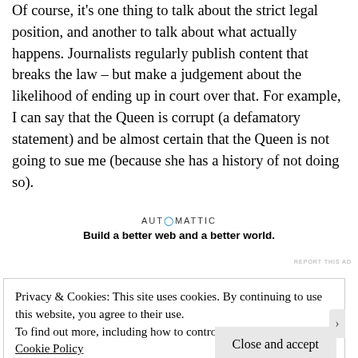Of course, it's one thing to talk about the strict legal position, and another to talk about what actually happens. Journalists regularly publish content that breaks the law – but make a judgement about the likelihood of ending up in court over that. For example, I can say that the Queen is corrupt (a defamatory statement) and be almost certain that the Queen is not going to sue me (because she has a history of not doing so).
[Figure (other): Automattic advertisement banner with logo text 'AUTOMATTIC' and tagline 'Build a better web and a better world.']
Privacy & Cookies: This site uses cookies. By continuing to use this website, you agree to their use.
To find out more, including how to control cookies, see here: Cookie Policy